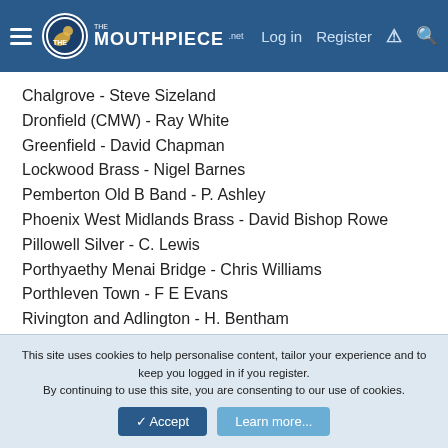The Mouthpiece | Log in | Register
Chalgrove - Steve Sizeland
Dronfield (CMW) - Ray White
Greenfield - David Chapman
Lockwood Brass - Nigel Barnes
Pemberton Old B Band - P. Ashley
Phoenix West Midlands Brass - David Bishop Rowe
Pillowell Silver - C. Lewis
Porthyaethy Menai Bridge - Chris Williams
Porthleven Town - F E Evans
Rivington and Adlington - H. Bentham
Thundersley Brass - Keith Schroeder
Uppermill - TBA
This site uses cookies to help personalise content, tailor your experience and to keep you logged in if you register.
By continuing to use this site, you are consenting to our use of cookies.